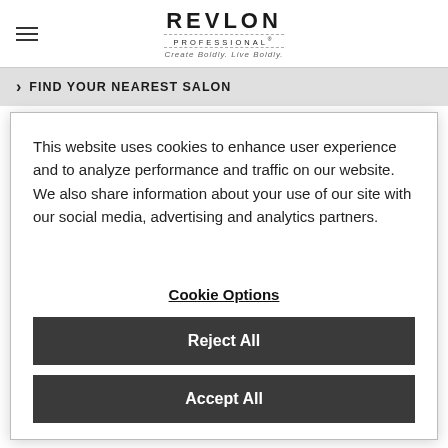REVLON PROFESSIONAL® — Create Boldly. Live Boldly.
> FIND YOUR NEAREST SALON
This website uses cookies to enhance user experience and to analyze performance and traffic on our website. We also share information about your use of our site with our social media, advertising and analytics partners.
Cookie Options
Reject All
Accept All